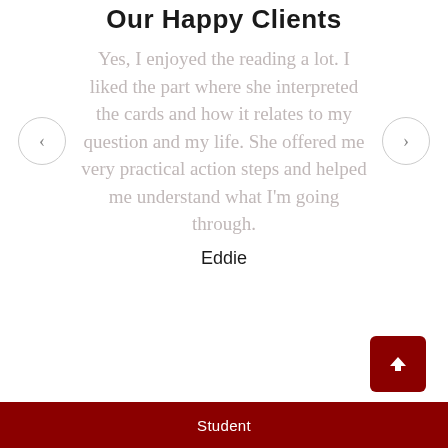Our Happy Clients
Yes, I enjoyed the reading a lot. I liked the part where she interpreted the cards and how it relates to my question and my life. She offered me very practical action steps and helped me understand what I'm going through.
Eddie
Student